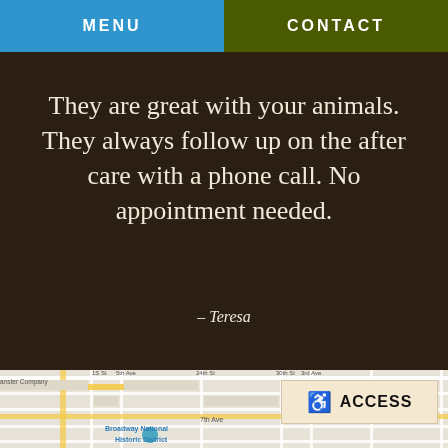MENU | CONTACT
They are great with your animals. They always follow up on the after care with a phone call. No appointment needed.
– Teresa
[Figure (map): Street map showing Broadway National Historic District, 7th Ave, 24th St, Augustana College area with grid streets]